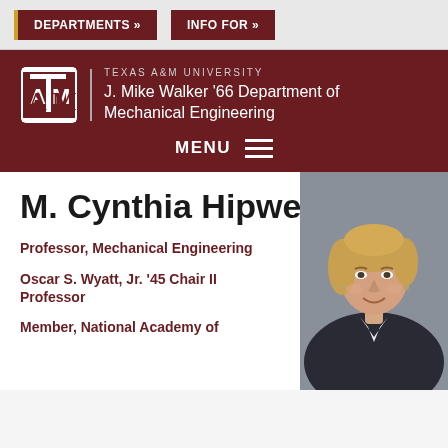DEPARTMENTS »   INFO FOR »
[Figure (logo): Texas A&M University ATM logo with text: TEXAS A&M UNIVERSITY / J. Mike Walker '66 Department of Mechanical Engineering, and MENU navigation button]
M. Cynthia Hipwell
Professor, Mechanical Engineering
Oscar S. Wyatt, Jr. '45 Chair II Professor
Member, National Academy of
[Figure (photo): Professional headshot photo of M. Cynthia Hipwell, a woman with blonde hair wearing a dark jacket and white shirt, smiling against a gray background]